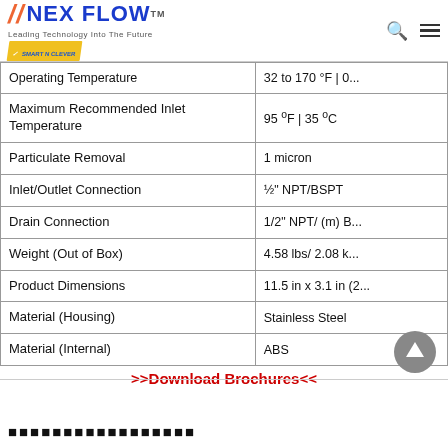NEX FLOW - Leading Technology Into The Future
| Property | Value |
| --- | --- |
| Operating Temperature | 32 to 170 °F | 0... |
| Maximum Recommended Inlet Temperature | 95 °F | 35 °C |
| Particulate Removal | 1 micron |
| Inlet/Outlet Connection | ½" NPT/BSPT |
| Drain Connection | 1/2" NPT/ (m) B... |
| Weight (Out of Box) | 4.58 lbs/ 2.08 k... |
| Product Dimensions | 11.5 in x 3.1 in (2... |
| Material (Housing) | Stainless Steel |
| Material (Internal) | ABS |
>>Download Brochures<<
[Figure (other): Scroll-to-top button (circular grey arrow-up icon)]
[garbled/corrupted text block]